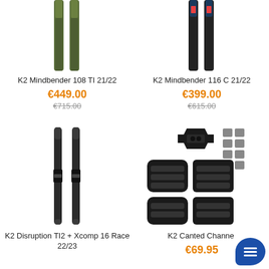[Figure (photo): K2 Mindbender 108 Ti 21/22 ski product image (top cropped)]
K2 Mindbender 108 Ti 21/22
€449.00
€715.00
[Figure (photo): K2 Mindbender 116 C 21/22 ski product image (top cropped)]
K2 Mindbender 116 C 21/22
€399.00
€615.00
[Figure (photo): K2 Disruption TI2 + Xcomp 16 Race 22/23 ski product image]
K2 Disruption TI2 + Xcomp 16 Race 22/23
[Figure (photo): K2 Canted Channel binding/hardware product image]
K2 Canted Channel
€69.95